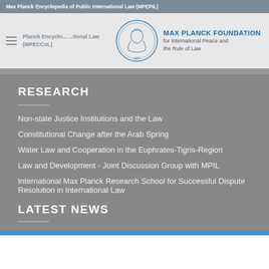Max Planck Encyclopedia of Public International Law (MPEPIL)
Max Planck Foundation for International Peace and the Rule of Law
RESEARCH
Non-state Justice Institutions and the Law
Constitutional Change after the Arab Spring
Water Law and Cooperation in the Euphrates-Tigris-Region
Law and Development - Joint Discussion Group with MPIL
International Max Planck Research School for Successful Dispute Resolution in International Law
LATEST NEWS